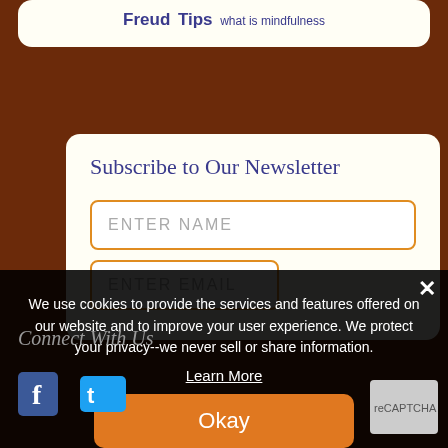Freud Tips what is mindfulness
Subscribe to Our Newsletter
ENTER NAME
ENTER EMAIL
We use cookies to provide the services and features offered on our website and to improve your user experience. We protect your privacy--we never sell or share information.
Learn More
Okay
Connect With Us